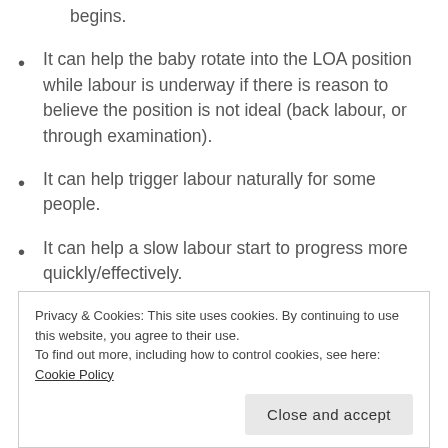position for labour & birth before labour begins.
It can help the baby rotate into the LOA position while labour is underway if there is reason to believe the position is not ideal (back labour, or through examination).
It can help trigger labour naturally for some people.
It can help a slow labour start to progress more quickly/effectively.
Privacy & Cookies: This site uses cookies. By continuing to use this website, you agree to their use.
To find out more, including how to control cookies, see here: Cookie Policy
Close and accept